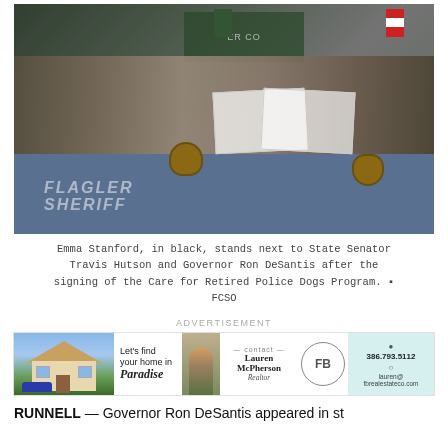[Figure (photo): Group photo at signing ceremony: Emma Stanford in black stands next to State Senator Travis Hutson and Governor Ron DeSantis after the signing of the Care for Retired Police Dogs Program. FCSO. A 'FLAGLER SHERIFF' tablecloth is visible at the front of the table.]
Emma Stanford, in black, stands next to State Senator Travis Hutson and Governor Ron DeSantis after the signing of the Care for Retired Police Dogs Program. 📷 FCSO
[Figure (other): Advertisement banner: 'Let's find your home in Paradise' — contact Lauren McPherson, Realtor. FB Real Estate Co. Phone: 386.793.5112, email: lauren@fbrealestateco.com]
RUNNELL — Governor Ron DeSantis appeared in st